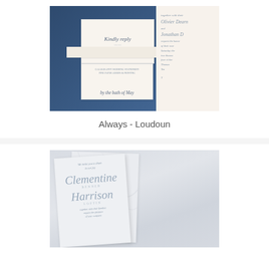[Figure (photo): Wedding invitation suite on navy blue pocket folder with cream RSVP card and belly band. Script text reads 'Kindly reply' and 'by the bath of May'. Right side shows partial invitation with calligraphy script names.]
Always - Loudoun
[Figure (photo): Wedding invitation on marble-textured paper with embossed or letterpress script calligraphy names 'Clementine' and 'Harrison' in grey/silver tones on white/grey marble background.]